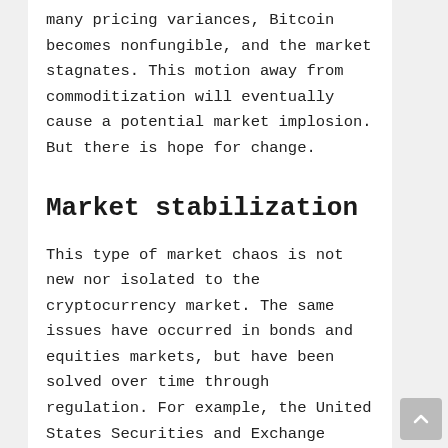many pricing variances, Bitcoin becomes nonfungible, and the market stagnates. This motion away from commoditization will eventually cause a potential market implosion. But there is hope for change.
Market stabilization
This type of market chaos is not new nor isolated to the cryptocurrency market. The same issues have occurred in bonds and equities markets, but have been solved over time through regulation. For example, the United States Securities and Exchange Commission has a policy called National Best Bid and Offer, or NBBO. This regulation requires all brokers to execute trades at the